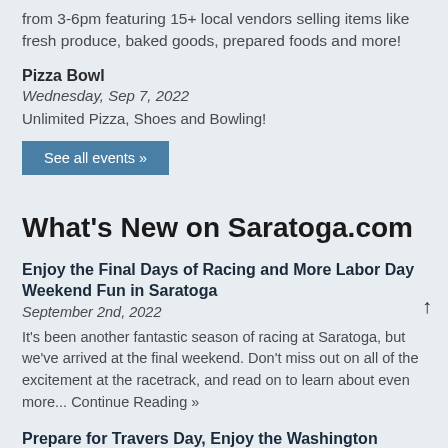from 3-6pm featuring 15+ local vendors selling items like fresh produce, baked goods, prepared foods and more!
Pizza Bowl
Wednesday, Sep 7, 2022
Unlimited Pizza, Shoes and Bowling!
See all events »
What's New on Saratoga.com
Enjoy the Final Days of Racing and More Labor Day Weekend Fun in Saratoga
September 2nd, 2022
It's been another fantastic season of racing at Saratoga, but we've arrived at the final weekend. Don't miss out on all of the excitement at the racetrack, and read on to learn about even more... Continue Reading »
Prepare for Travers Day, Enjoy the Washington County Fair, and Find More Weekend Events
August 26th, 2022
The long wait is finally over – it's time for the